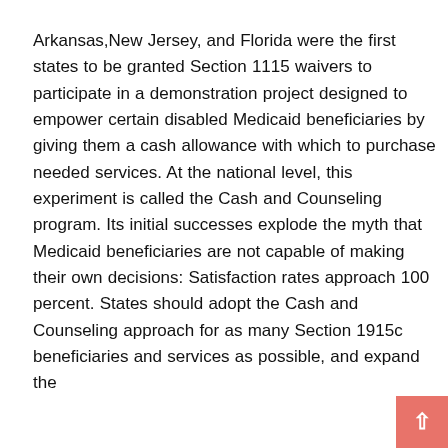Arkansas,New Jersey, and Florida were the first states to be granted Section 1115 waivers to participate in a demonstration project designed to empower certain disabled Medicaid beneficiaries by giving them a cash allowance with which to purchase needed services. At the national level, this experiment is called the Cash and Counseling program. Its initial successes explode the myth that Medicaid beneficiaries are not capable of making their own decisions: Satisfaction rates approach 100 percent. States should adopt the Cash and Counseling approach for as many Section 1915c beneficiaries and services as possible, and expand the